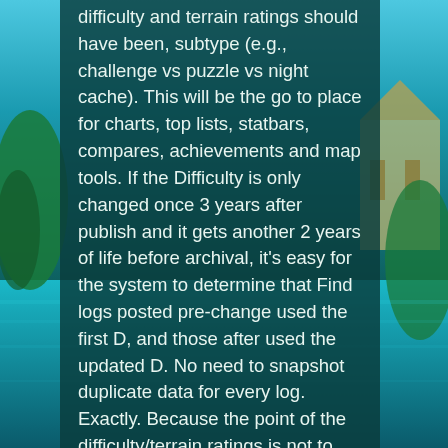difficulty and terrain ratings should have been, subtype (e.g., challenge vs puzzle vs night cache). This will be the go to place for charts, top lists, statbars, compares, achievements and map tools. If the Difficulty is only changed once 3 years after publish and it gets another 2 years of life before archival, it's easy for the system to determine that Find logs posted pre-change used the first D, and those after used the updated D. No need to snapshot duplicate data for every log. Exactly. Because the point of the difficulty/terrain ratings is not to preserve your precious D/T grid. Add more UI features for snapshots and dates, and returning to past logs to change which values to use if a cache changes? If someone wants to cheat by creatimg a dummy account, creating a cache, finding it,